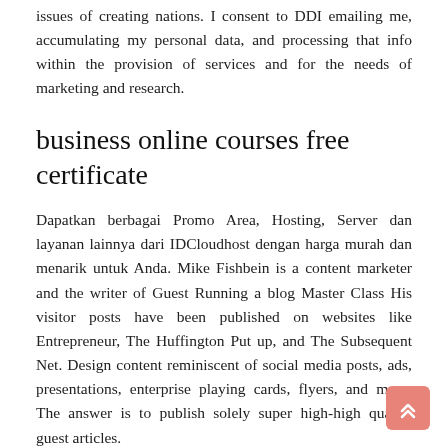issues of creating nations. I consent to DDI emailing me, accumulating my personal data, and processing that info within the provision of services and for the needs of marketing and research.
business online courses free certificate
Dapatkan berbagai Promo Area, Hosting, Server dan layanan lainnya dari IDCloudhost dengan harga murah dan menarik untuk Anda. Mike Fishbein is a content marketer and the writer of Guest Running a blog Master Class His visitor posts have been published on websites like Entrepreneur, The Huffington Put up, and The Subsequent Net. Design content reminiscent of social media posts, ads, presentations, enterprise playing cards, flyers, and more. The answer is to publish solely super high-high quality guest articles.